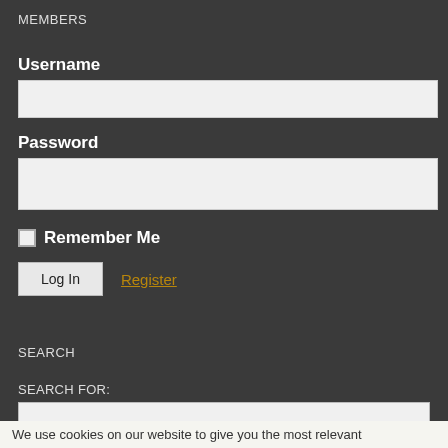MEMBERS
Username
Password
Remember Me
Log In  Register
SEARCH
SEARCH FOR:
Search
We use cookies on our website to give you the most relevant